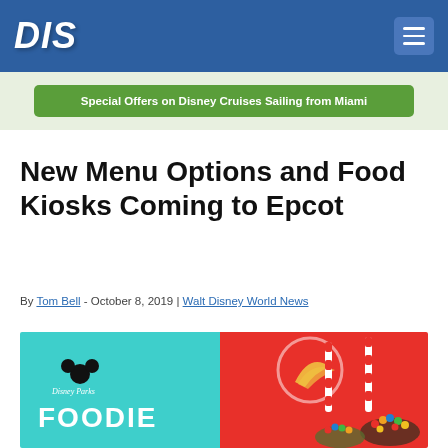DIS
Special Offers on Disney Cruises Sailing from Miami
New Menu Options and Food Kiosks Coming to Epcot
By Tom Bell - October 8, 2019 | Walt Disney World News
[Figure (photo): Disney Parks Foodie promotional image showing colorful drinks with candy toppings against a teal and red background with a bird logo.]